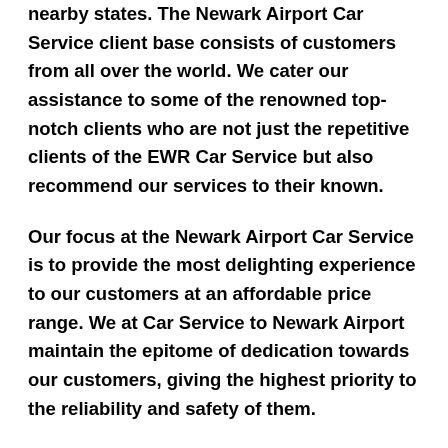nearby states. The Newark Airport Car Service client base consists of customers from all over the world. We cater our assistance to some of the renowned top-notch clients who are not just the repetitive clients of the EWR Car Service but also recommend our services to their known.
Our focus at the Newark Airport Car Service is to provide the most delighting experience to our customers at an affordable price range. We at Car Service to Newark Airport maintain the epitome of dedication towards our customers, giving the highest priority to the reliability and safety of them.
So, next time when you plan to visit the magnificent Gardiner, NY, reserve the bookings of Newark